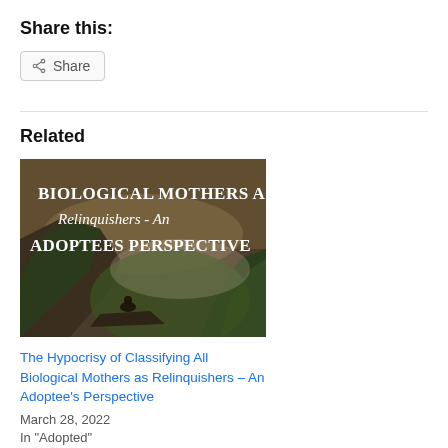Share this:
Share
[Figure (illustration): Decorative blog image showing a person sitting on a rocky cliff overlooking a forested valley, with text overlay reading 'BIOLOGICAL MOTHERS AS Relinquishers - An ADOPTEES PERSPECTIVE']
Related
The Hypocrisy of Classifying All Biological Mothers as Relinquishers – An Adoptee's Perspective
March 28, 2022
In "Adopted"